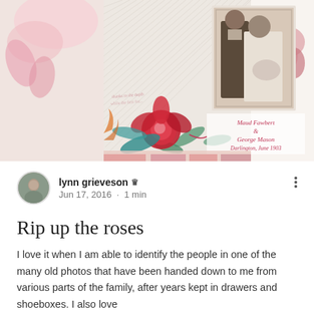[Figure (photo): Decorative scrapbook collage featuring a vintage sepia wedding photograph of a couple (man in dark suit, woman in white dress) surrounded by watercolor roses and floral elements in pink and red tones, with text overlay reading 'Maud Fawbert & George Mason Darlington, June 1903']
lynn grieveson 🜲
Jun 17, 2016 · 1 min
Rip up the roses
I love it when I am able to identify the people in one of the many old photos that have been handed down to me from various parts of the family, after years kept in drawers and shoeboxes. I also love